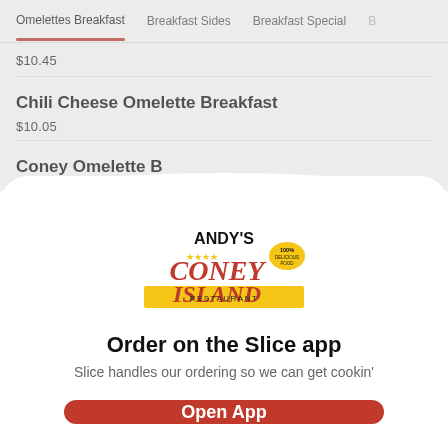Omelettes Breakfast | Breakfast Sides | Breakfast Special | B
$10.45
Chili Cheese Omelette Breakfast
$10.05
Coney Omelette B...
chili, 2...
[Figure (logo): Andy's Coney Island Restaurant logo with text 'Welcome To Andy's Coney Island Restaurant' on a yellow banner, with red star decorations]
Order on the Slice app
Slice handles our ordering so we can get cookin'
Open App